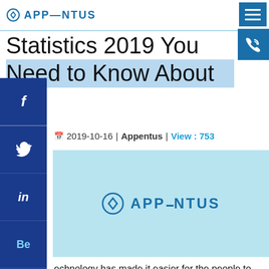Appentus
Statistics 2019 You Need to Know About
2019-10-16 | Appentus | View : 753
[Figure (logo): Appentus logo on light blue background banner]
Technology has made it easier for the people to get everything at their finger-tips and the advent of apps have made it easier. People tend to spend most of the time on these applications which help to drive the mobile app development sector.
Google has been known to everyone because of its